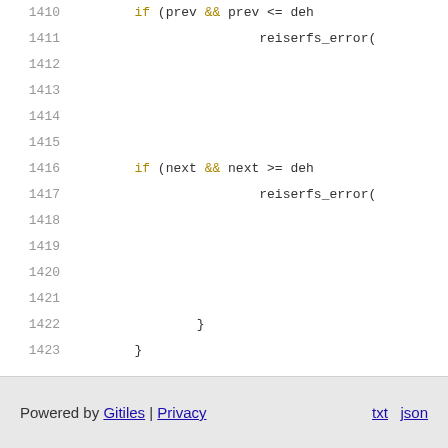[Figure (screenshot): Source code viewer showing lines 1410-1426 of a C file. Lines contain: if (prev && prev <= deh, reiserfs_error(, blank lines, if (next && next >= deh, reiserfs_error(, blank lines, closing braces, #endif, and closing brace.]
Powered by Gitiles | Privacy    txt  json